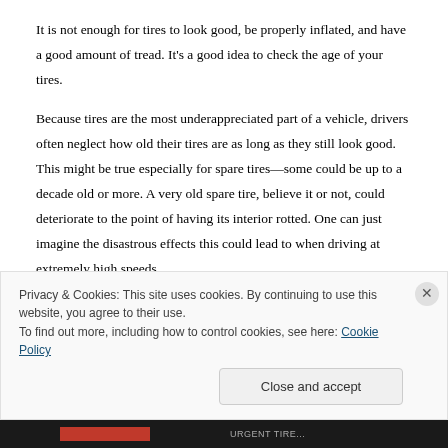It is not enough for tires to look good, be properly inflated, and have a good amount of tread. It's a good idea to check the age of your tires.
Because tires are the most underappreciated part of a vehicle, drivers often neglect how old their tires are as long as they still look good. This might be true especially for spare tires—some could be up to a decade old or more. A very old spare tire, believe it or not, could deteriorate to the point of having its interior rotted. One can just imagine the disastrous effects this could lead to when driving at extremely high speeds.
Privacy & Cookies: This site uses cookies. By continuing to use this website, you agree to their use.
To find out more, including how to control cookies, see here: Cookie Policy